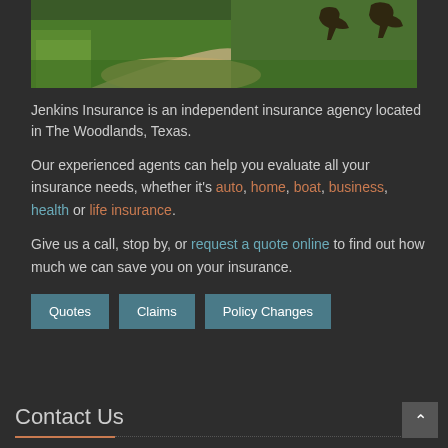[Figure (photo): Outdoor garden landscape with green grass, ornamental grasses, a curved gravel path, and bronze horse sculptures in the background]
Jenkins Insurance is an independent insurance agency located in The Woodlands, Texas.
Our experienced agents can help you evaluate all your insurance needs, whether it's auto, home, boat, business, health or life insurance.
Give us a call, stop by, or request a quote online to find out how much we can save you on your insurance.
Quotes
Claims
Policy Changes
Contact Us